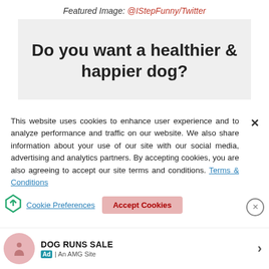Featured Image: @IStepFunny/Twitter
[Figure (other): Gray box with bold text reading 'Do you want a healthier & happier dog?']
This website uses cookies to enhance user experience and to analyze performance and traffic on our website. We also share information about your use of our site with our social media, advertising and analytics partners. By accepting cookies, you are also agreeing to accept our site terms and conditions. Terms & Conditions
DOG RUNS SALE
Ad | An AMG Site
Cookie Preferences
Accept Cookies